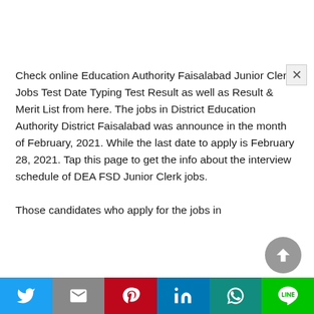Check online Education Authority Faisalabad Junior Clerk Jobs Test Date Typing Test Result as well as Result & Merit List from here. The jobs in District Education Authority District Faisalabad was announce in the month of February, 2021. While the last date to apply is February 28, 2021. Tap this page to get the info about the interview schedule of DEA FSD Junior Clerk jobs.

Those candidates who apply for the jobs in